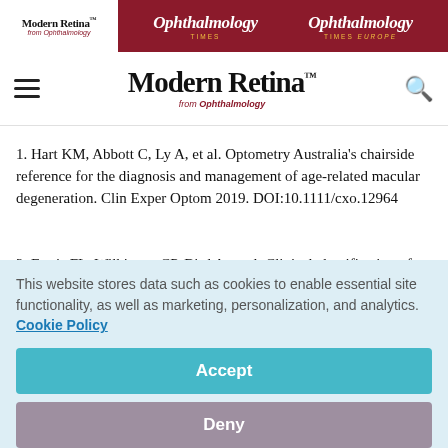Modern Retina from Ophthalmology | Ophthalmology Times | Ophthalmology Times Europe
Modern Retina™ from Ophthalmology
1. Hart KM, Abbott C, Ly A, et al. Optometry Australia's chairside reference for the diagnosis and management of age-related macular degeneration. Clin Exper Optom 2019. DOI:10.1111/cxo.12964
2. Ferris FL, Wilkinson CP, Bird A, et al. Clinical classification of age–related macular degeneration. Ophthalmology 2013:
This website stores data such as cookies to enable essential site functionality, as well as marketing, personalization, and analytics. Cookie Policy
Accept
Deny